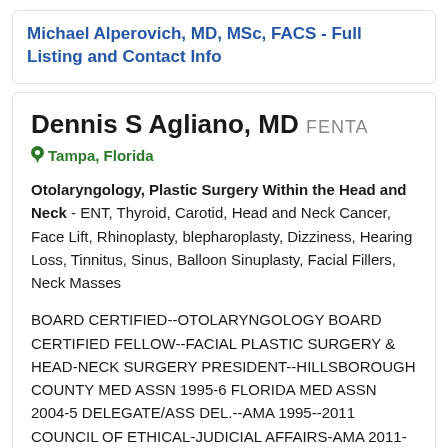Michael Alperovich, MD, MSc, FACS - Full Listing and Contact Info
Dennis S Agliano, MD FENTA
Tampa, Florida
Otolaryngology, Plastic Surgery Within the Head and Neck - ENT, Thyroid, Carotid, Head and Neck Cancer, Face Lift, Rhinoplasty, blepharoplasty, Dizziness, Hearing Loss, Tinnitus, Sinus, Balloon Sinuplasty, Facial Fillers, Neck Masses
BOARD CERTIFIED--OTOLARYNGOLOGY BOARD CERTIFIED FELLOW--FACIAL PLASTIC SURGERY & HEAD-NECK SURGERY PRESIDENT--HILLSBOROUGH COUNTY MED ASSN 1995-6 FLORIDA MED ASSN 2004-5 DELEGATE/ASS DEL.--AMA 1995--2011 COUNCIL OF ETHICAL-JUDICIAL AFFAIRS-AMA 2011-18 Vice Chair 2016-2017 PHYSICIAN OF THE YEAR--HILLSBOROUGH COUNTY MED ASSN 1997 AND 2004 DISTINGUISHED ALUMNUS--U MIAMI 1997 CHAIR AWARD--AMER ACAD ENT